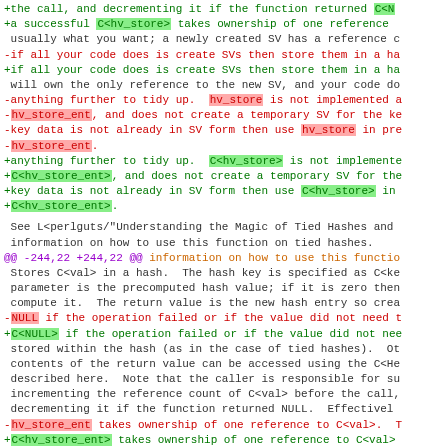Diff view of perlapi documentation changes showing hv_store and hv_store_ent modifications
@@ -244,22 +244,22 @@ information on how to use this function on tied hashes.